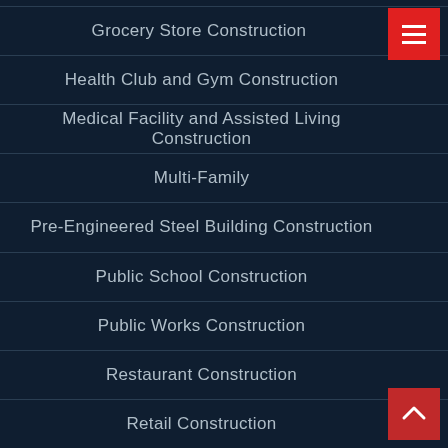Grocery Store Construction
Health Club and Gym Construction
Medical Facility and Assisted Living Construction
Multi-Family
Pre-Engineered Steel Building Construction
Public School Construction
Public Works Construction
Restaurant Construction
Retail Construction